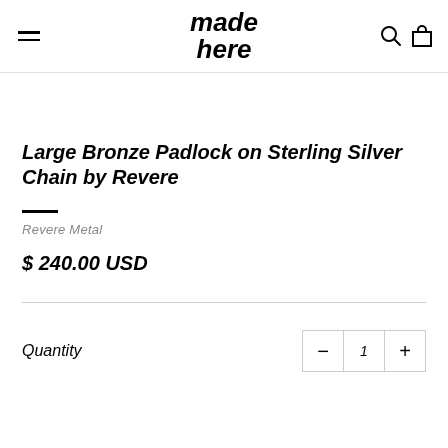made here
Large Bronze Padlock on Sterling Silver Chain by Revere
Revere Metal
$ 240.00 USD
Quantity  1